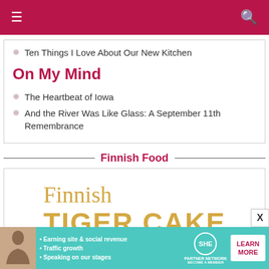Navigation bar with menu and search icons
Ten Things I Love About Our New Kitchen
On My Mind
The Heartbeat of Iowa
And the River Was Like Glass: A September 11th Remembrance
Finnish Food
[Figure (illustration): Finnish Tiger Cake book or card image with decorative text showing 'Finnish' in light script and 'TIGER CAKE' in large bold golden letters]
[Figure (infographic): SHE Partner Network advertisement banner with person photo, bullet points about earning site and social revenue, traffic growth, speaking on stages, SHE logo, and Learn More button]